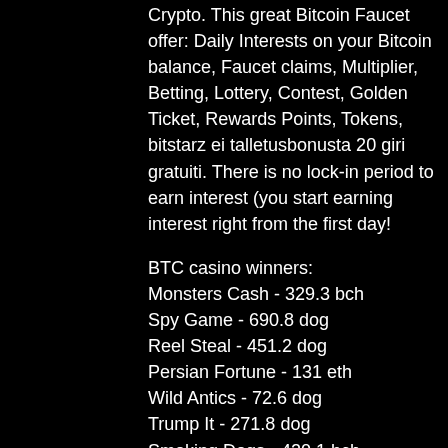Crypto. This great Bitcoin Faucet offer: Daily Interests on your Bitcoin balance, Faucet claims, Multiplier, Betting, Lottery, Contest, Golden Ticket, Rewards Points, Tokens, bitstarz ei talletusbonusta 20 giri gratuiti. There is no lock-in period to earn interest (you start earning interest right from the first day!
BTC casino winners:
Monsters Cash - 329.3 bch
Spy Game - 690.8 dog
Reel Steal - 451.2 dog
Persian Fortune - 131 eth
Wild Antics - 72.6 dog
Trump It - 271.8 dog
Smoking Dogs - 420.1 bch
Tropic Dancer - 556.8 bch
Western Wilderness - 206.6 eth
Diamond Dazzle - 182.7 btc
Mad Mad Monkey - 274.9 ltc
Winner´s Cup - 419.8 ltc